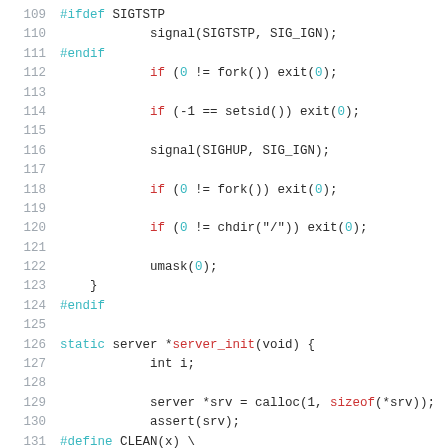Code listing lines 109-131: C source code showing daemon initialization and server_init function
109: #ifdef SIGTSTP
110:     signal(SIGTSTP, SIG_IGN);
111: #endif
112:     if (0 != fork()) exit(0);
113:
114:     if (-1 == setsid()) exit(0);
115:
116:     signal(SIGHUP, SIG_IGN);
117:
118:     if (0 != fork()) exit(0);
119:
120:     if (0 != chdir("/")) exit(0);
121:
122:     umask(0);
123: }
124: #endif
125:
126: static server *server_init(void) {
127:     int i;
128:
129:     server *srv = calloc(1, sizeof(*srv));
130:     assert(srv);
131: #define CLEAN(x) \